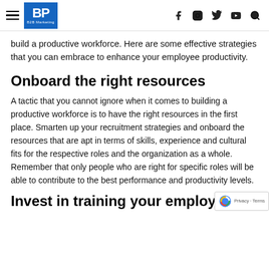BP B2B Marketing
build a productive workforce. Here are some effective strategies that you can embrace to enhance your employee productivity.
Onboard the right resources
A tactic that you cannot ignore when it comes to building a productive workforce is to have the right resources in the first place. Smarten up your recruitment strategies and onboard the resources that are apt in terms of skills, experience and cultural fits for the respective roles and the organization as a whole. Remember that only people who are right for specific roles will be able to contribute to the best performance and productivity levels.
Invest in training your employees